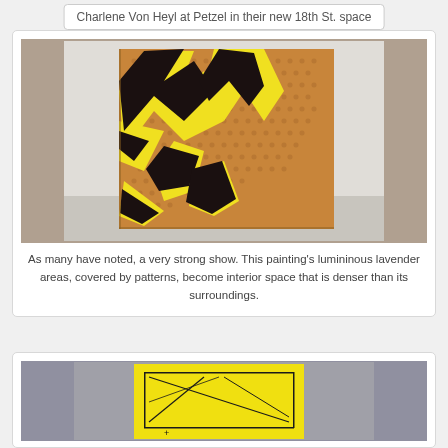Charlene Von Heyl at Petzel in their new 18th St. space
[Figure (photo): Gallery photo of a large abstract painting with bold yellow and black shapes over a brown patterned background, hung on a white wall.]
As many have noted, a very strong show. This painting’s lumininous lavender areas, covered by patterns, become interior space that is denser than its surroundings.
[Figure (photo): Partial view of a bright yellow canvas with black linear sketched marks forming a rectangular border, leaning against a gray wall.]